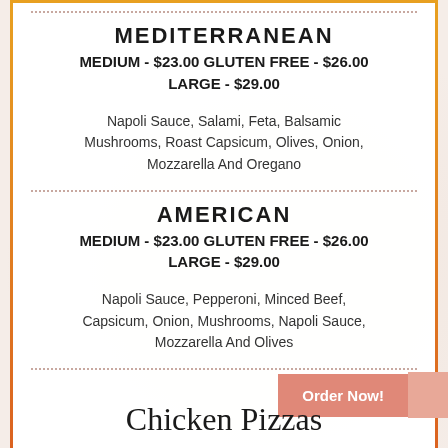MEDITERRANEAN
MEDIUM - $23.00 GLUTEN FREE - $26.00 LARGE - $29.00
Napoli Sauce, Salami, Feta, Balsamic Mushrooms, Roast Capsicum, Olives, Onion, Mozzarella And Oregano
AMERICAN
MEDIUM - $23.00 GLUTEN FREE - $26.00 LARGE - $29.00
Napoli Sauce, Pepperoni, Minced Beef, Capsicum, Onion, Mushrooms, Napoli Sauce, Mozzarella And Olives
Order Now!
Chicken Pizzas